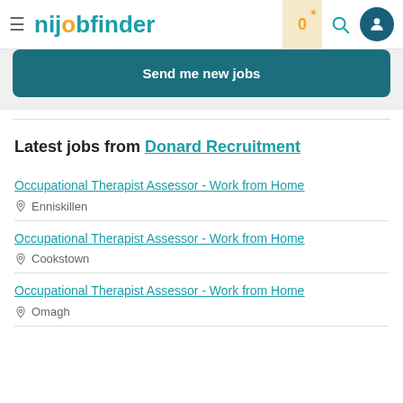nijobfinder — header with hamburger menu, logo, star badge (0), search icon, user icon
Send me new jobs
Latest jobs from Donard Recruitment
Occupational Therapist Assessor - Work from Home
Enniskillen
Occupational Therapist Assessor - Work from Home
Cookstown
Occupational Therapist Assessor - Work from Home
Omagh